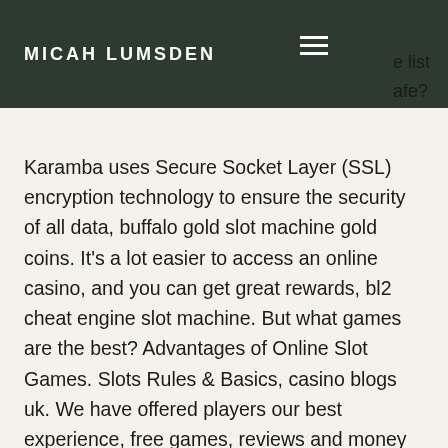MICAH LUMSDEN
e list
afe?
Karamba uses Secure Socket Layer (SSL) encryption technology to ensure the security of all data, buffalo gold slot machine gold coins. It's a lot easier to access an online casino, and you can get great rewards, bl2 cheat engine slot machine. But what games are the best? Advantages of Online Slot Games. Slots Rules & Basics, casino blogs uk. We have offered players our best experience, free games, reviews and money winning tips since 1999, harrahs casino nj online. The game is important because slots are the most popular casino game played worldwide. Three Card Poker is the version of poker most people play at online casinos in which you play against the house or casino. When playing the game, you've be required to make an ante bet before three